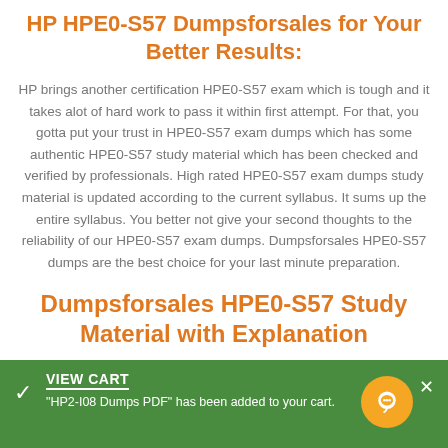HP HPE0-S57 Dumpsforsales for Your Better Results:
HP brings another certification HPE0-S57 exam which is tough and it takes alot of hard work to pass it within first attempt. For that, you gotta put your trust in HPE0-S57 exam dumps which has some authentic HPE0-S57 study material which has been checked and verified by professionals. High rated HPE0-S57 exam dumps study material is updated according to the current syllabus. It sums up the entire syllabus. You better not give your second thoughts to the reliability of our HPE0-S57 exam dumps. Dumpsforsales HPE0-S57 dumps are the best choice for your last minute preparation.
Dumpsforsales HPE0-S57 Study Material with Explanation
VIEW CART
"HP2-I08 Dumps PDF" has been added to your cart.